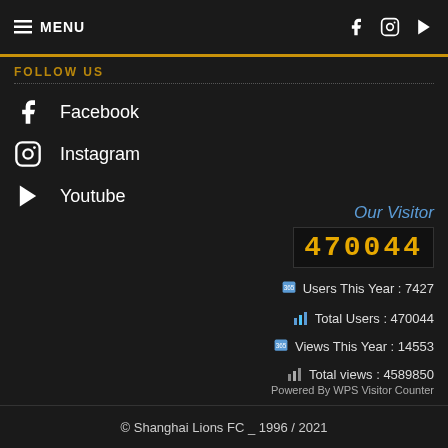≡ MENU
FOLLOW US
Facebook
Instagram
Youtube
Our Visitor
470044
Users This Year : 7427
Total Users : 470044
Views This Year : 14553
Total views : 4589850
Powered By WPS Visitor Counter
© Shanghai Lions FC _ 1996 / 2021